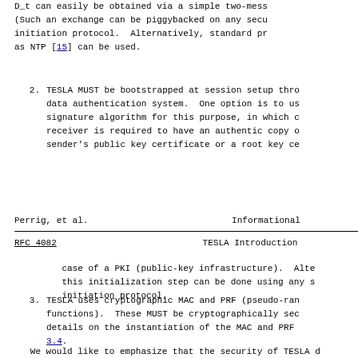D_t can easily be obtained via a simple two-mess (Such an exchange can be piggybacked on any secu initiation protocol.  Alternatively, standard pr as NTP [15] can be used.
2.  TESLA MUST be bootstrapped at session setup thro data authentication system.  One option is to us signature algorithm for this purpose, in which c receiver is required to have an authentic copy o sender's public key certificate or a root key ce
Perrig, et al.                      Informational
RFC 4082                        TESLA Introduction
case of a PKI (public-key infrastructure).  Alte this initialization step can be done using any s initiation protocol.
3.  TESLA uses cryptographic MAC and PRF (pseudo-ran functions).  These MUST be cryptographically sec details on the instantiation of the MAC and PRF 3.4.
We would like to emphasize that the security of TESLA d